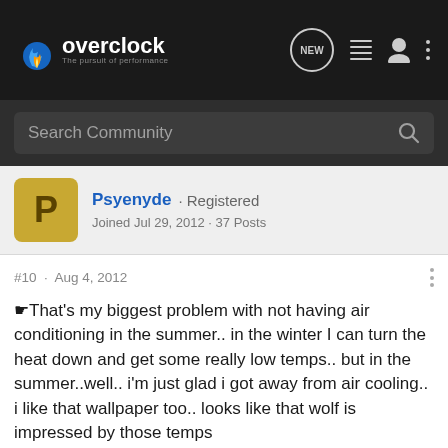[Figure (logo): Overclock.net logo with flame icon and tagline 'The pursuit of performance' on dark navbar with navigation icons]
Search Community
Psyenyde · Registered
Joined Jul 29, 2012 · 37 Posts
#10 · Aug 4, 2012
That's my biggest problem with not having air conditioning in the summer.. in the winter I can turn the heat down and get some really low temps.. but in the summer..well.. i'm just glad i got away from air cooling.. i like that wallpaper too.. looks like that wolf is impressed by those temps
1 - 10 of 10 Posts